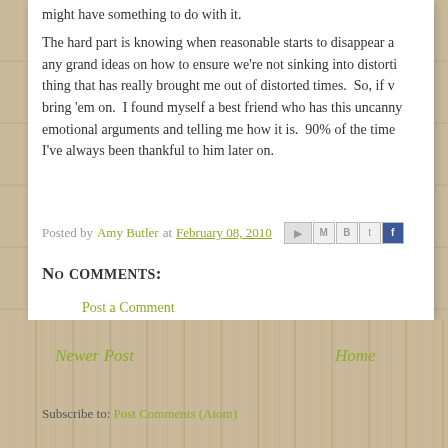might have something to do with it.
The hard part is knowing when reasonable starts to disappear and I don't have any grand ideas on how to ensure we're not sinking into distortion. I know one thing that has really brought me out of distorted times. So, if you have ideas, bring 'em on. I found myself a best friend who has this uncanny ability of hearing emotional arguments and telling me how it is. 90% of the time I hate him but I've always been thankful to him later on.
Posted by Amy Butler at February 08, 2010
No comments:
Post a Comment
Newer Post
Home
Subscribe to: Post Comments (Atom)